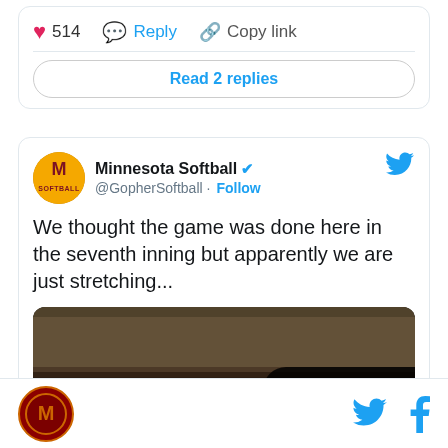514  Reply  Copy link
Read 2 replies
Minnesota Softball @GopherSoftball · Follow
We thought the game was done here in the seventh inning but apparently we are just stretching...
[Figure (photo): Minnesota Softball team celebrating with a crowd in the background. A 'Watch on Twitter' badge overlaid.]
Minnesota Gophers logo icon, Twitter bird icon, Facebook f icon